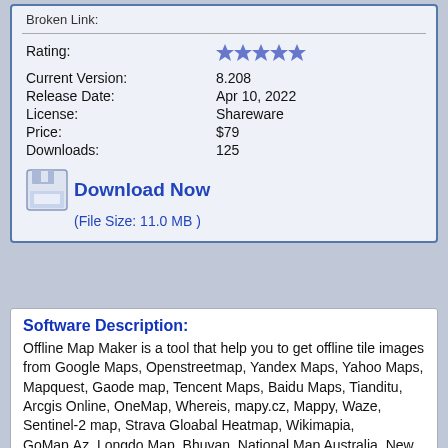Broken Link:
| Rating: | ★★★★★ |
| Current Version: | 8.208 |
| Release Date: | Apr 10, 2022 |
| License: | Shareware |
| Price: | $79 |
| Downloads: | 125 |
Download Now
(File Size: 11.0 MB )
Software Description:
Offline Map Maker is a tool that help you to get offline tile images from Google Maps, Openstreetmap, Yandex Maps, Yahoo Maps, Mapquest, Gaode map, Tencent Maps, Baidu Maps, Tianditu, Arcgis Online, OneMap, Whereis, mapy.cz, Mappy, Waze, Sentinel-2 map, Strava Gloabal Heatmap, Wikimapia, GoMap.Az, Longdo Map, Bhuvan, National Map Australia, New Zealand Topographic, Map of UAE, ViaMichelin Map, MapFan, Yahoo Japan Map, maps.stamen.com, maps.marshruty.ru, shipxy.com, Freemap Slovakia, UMP-PC.pl, Vietbando Maps, MinView, Naver, Carte-